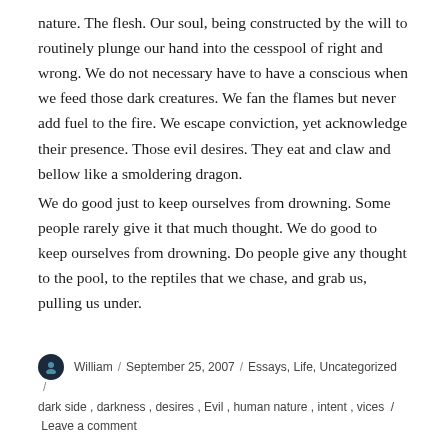nature. The flesh. Our soul, being constructed by the will to routinely plunge our hand into the cesspool of right and wrong. We do not necessary have to have a conscious when we feed those dark creatures. We fan the flames but never add fuel to the fire. We escape conviction, yet acknowledge their presence. Those evil desires. They eat and claw and bellow like a smoldering dragon.
We do good just to keep ourselves from drowning. Some people rarely give it that much thought. We do good to keep ourselves from drowning. Do people give any thought to the pool, to the reptiles that we chase, and grab us, pulling us under.
William / September 25, 2007 / Essays, Life, Uncategorized / dark side, darkness, desires, Evil, human nature, intent, vices / Leave a comment